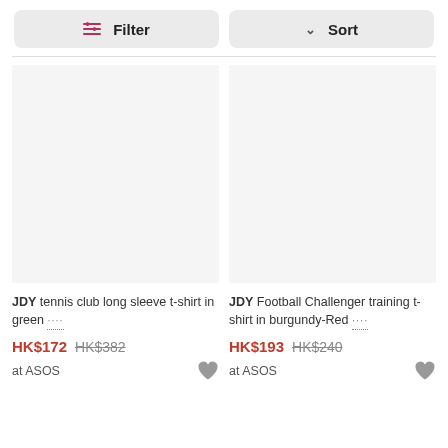[Figure (screenshot): Filter and Sort buttons bar at top of product listing page]
[Figure (photo): Product image placeholder for JDY tennis club long sleeve t-shirt in green (light gray background, no visible product)]
JDY tennis club long sleeve t-shirt in green ....
HK$172 HK$382
at ASOS
[Figure (photo): Product image placeholder for JDY Football Challenger training t-shirt in burgundy-Red (light gray background, no visible product)]
JDY Football Challenger training t-shirt in burgundy-Red ....
HK$193 HK$240
at ASOS